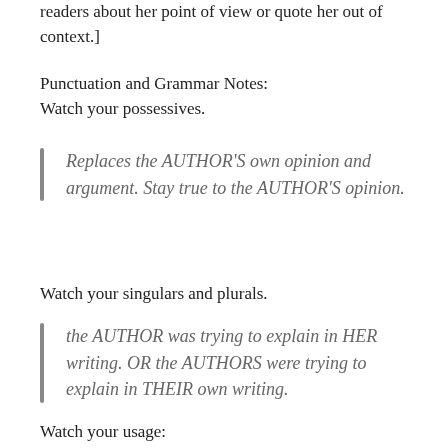readers about her point of view or quote her out of context.]
Punctuation and Grammar Notes:
Watch your possessives.
Replaces the AUTHOR'S own opinion and argument. Stay true to the AUTHOR'S opinion.
Watch your singulars and plurals.
the AUTHOR was trying to explain in HER writing. OR the AUTHORS were trying to explain in THEIR own writing.
Watch your usage: